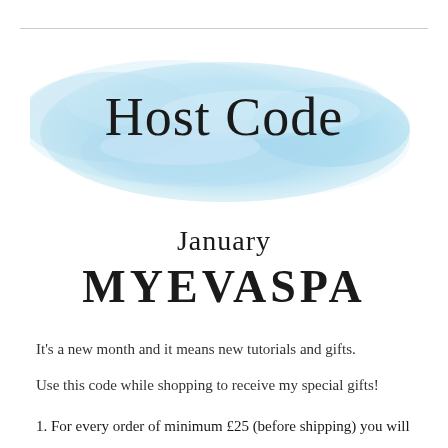[Figure (illustration): Blue watercolor brush stroke background behind 'Host Code' text]
Host Code
January
MYEVASPA
It's a new month and it means new tutorials and gifts.
Use this code while shopping to receive my special gifts!
1. For every order of minimum £25 (before shipping) you will